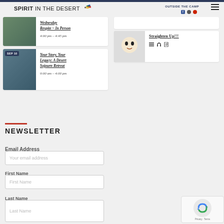SPIRIT IN THE DESERT
Wednesday Respite ~ In Person | 4:00 pm – 4:45 pm
SEP 10 | Your Story, Your Legacy: A Desert Sojourn Retreat | 9:00 am – 4:00 pm
[Figure (screenshot): AUG 17 event card: Straighten Up!!! with icons]
NEWSLETTER
Email Address
Your email address
First Name
First Name
Last Name
Last Name